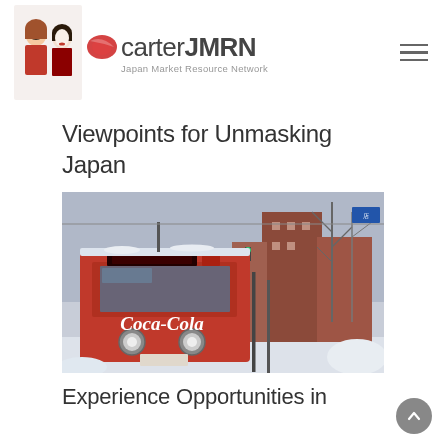carterJMRN Japan Market Resource Network
Viewpoints for Unmasking Japan
[Figure (photo): A red Coca-Cola branded tram/streetcar on a snowy Japanese city street in winter, with snow-covered buildings and bare trees in the background.]
Experience Opportunities in